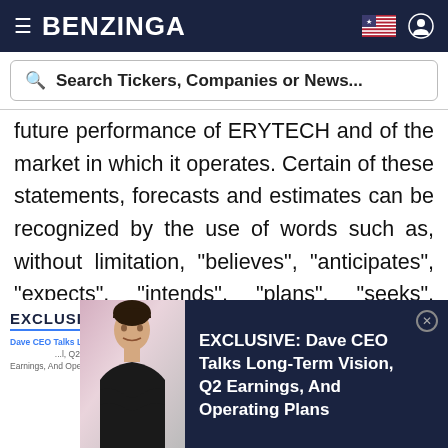BENZINGA
Search Tickers, Companies or News...
future performance of ERYTECH and of the market in which it operates. Certain of these statements, forecasts and estimates can be recognized by the use of words such as, without limitation, "believes", "anticipates", "expects", "intends", "plans", "seeks", "estimates", "may", "will" and "continue" and similar expressions. All statements contained in this press release other than statements of historical facts are
[Figure (screenshot): Ad banner: EXCLUSIVE: Dave CEO Talks Long-Term Vision, Q2 Earnings, And Operating Plans, with a photo of a man in black shirt, on dark navy background]